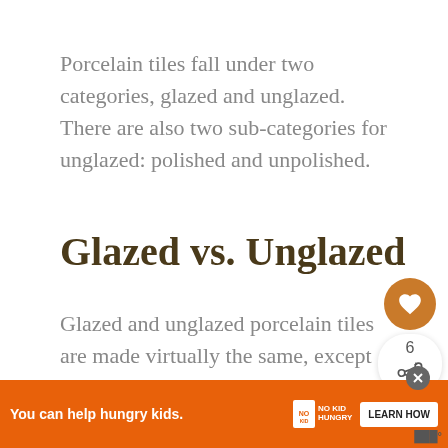Porcelain tiles fall under two categories, glazed and unglazed. There are also two sub-categories for unglazed: polished and unpolished.
Glazed vs. Unglazed
Glazed and unglazed porcelain tiles are made virtually the same, except for one additional st. The porcelain is made by compressing silica, and other materials in extremely high temperatures. This compression is part of why
[Figure (other): Social sharing widget with heart/like button (gold circle with heart icon), share count of 6, and share icon]
[Figure (other): What's Next banner showing thumbnail and text '13 Amazing Alternatives ...']
[Figure (other): Advertisement banner: orange background with text 'You can help hungry kids.' No Kid Hungry logo and LEARN HOW button]